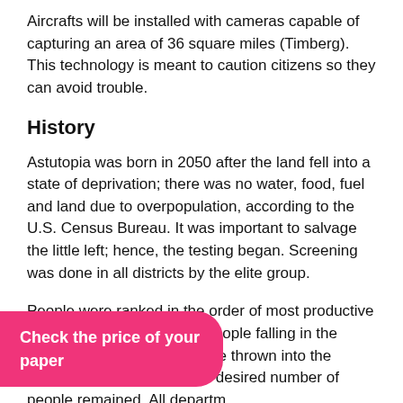Aircrafts will be installed with cameras capable of capturing an area of 36 square miles (Timberg). This technology is meant to caution citizens so they can avoid trouble.
History
Astutopia was born in 2050 after the land fell into a state of deprivation; there was no water, food, fuel and land due to overpopulation, according to the U.S. Census Bureau. It was important to salvage the little left; hence, the testing began. Screening was done in all districts by the elite group.
People were ranked in the order of most productive to least productive. All the people falling in the lower quarters of the list were thrown into the dungeons of death until the desired number of people remained. All departments of internal ... ensure that no
Check the price of your paper